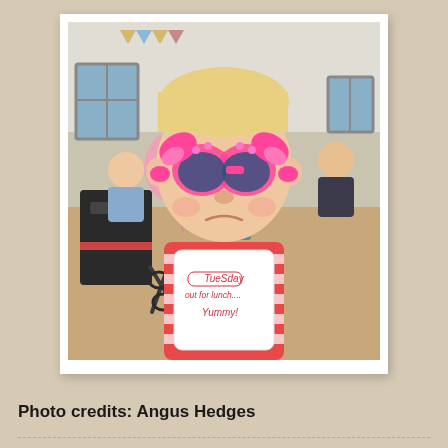[Figure (photo): A baby/toddler wearing large pink novelty butterfly sunglasses and a white bib that reads 'Tuesday out for lunch.... Yummy!' in red text. The baby is wearing a red and white striped outfit. In the background there are balloons, scissors, bags, and other people in what appears to be an indoor gathering.]
Photo credits: Angus Hedges